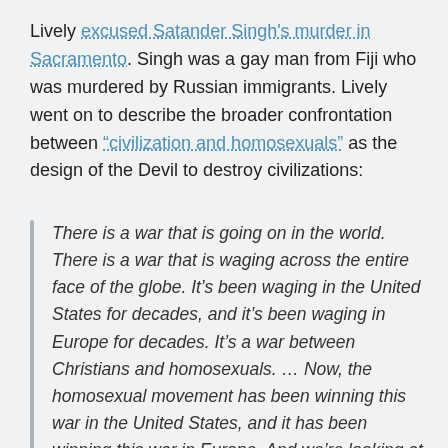Lively excused Satander Singh's murder in Sacramento. Singh was a gay man from Fiji who was murdered by Russian immigrants. Lively went on to describe the broader confrontation between "civilization and homosexuals" as the design of the Devil to destroy civilizations:
There is a war that is going on in the world. There is a war that is waging across the entire face of the globe. It's been waging in the United States for decades, and it's been waging in Europe for decades. It's a war between Christians and homosexuals. … Now, the homosexual movement has been winning this war in the United States, and it has been winning this war in Europe. And we're looking at the future collapse of Western civilization.